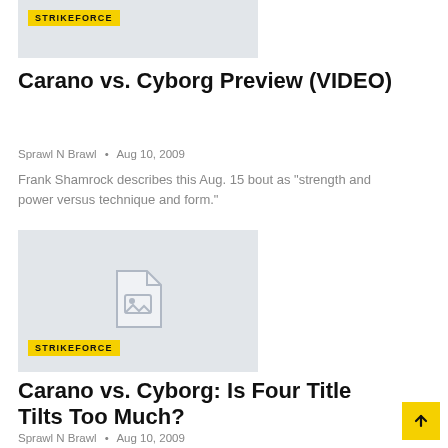[Figure (photo): Gray placeholder image at top of page]
STRIKEFORCE
Carano vs. Cyborg Preview (VIDEO)
Sprawl N Brawl  •  Aug 10, 2009
Frank Shamrock describes this Aug. 15 bout as "strength and power versus technique and form."
[Figure (photo): Gray placeholder image with image icon]
STRIKEFORCE
Carano vs. Cyborg: Is Four Title Tilts Too Much?
Sprawl N Brawl  •  Aug 10, 2009